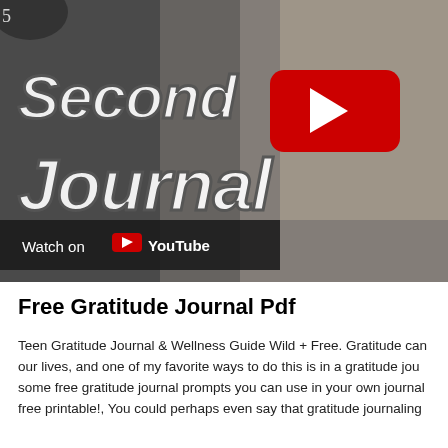[Figure (screenshot): YouTube video thumbnail showing a smiling blonde woman holding a dark journal/book, with large decorative hand-lettered text reading 'Second Journal' overlaid, a red YouTube play button in the upper right area, and a dark bar at the bottom left reading 'Watch on YouTube' with the YouTube logo.]
Free Gratitude Journal Pdf
Teen Gratitude Journal & Wellness Guide Wild + Free. Gratitude can our lives, and one of my favorite ways to do this is in a gratitude jou some free gratitude journal prompts you can use in your own journal free printable!, You could perhaps even say that gratitude journaling